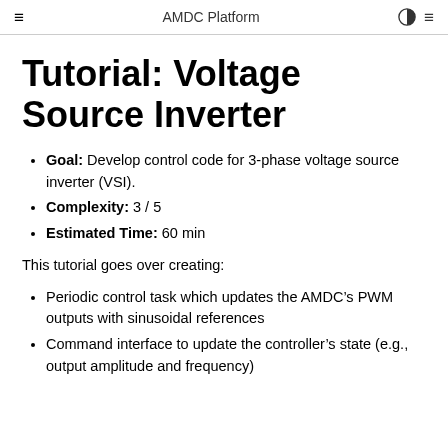AMDC Platform
Tutorial: Voltage Source Inverter
Goal: Develop control code for 3-phase voltage source inverter (VSI).
Complexity: 3 / 5
Estimated Time: 60 min
This tutorial goes over creating:
Periodic control task which updates the AMDC's PWM outputs with sinusoidal references
Command interface to update the controller's state (e.g., output amplitude and frequency)